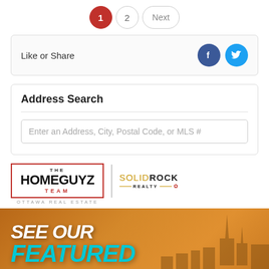1  2  Next
Like or Share
Address Search
Enter an Address, City, Postal Code, or MLS #
[Figure (logo): The Homeguyz Team logo with Solid Rock Realty branding and Ottawa Real Estate subtitle]
[Figure (illustration): SEE OUR FEATURED banner with Ottawa skyline silhouette at sunset in orange tones, cyan text for FEATURED]